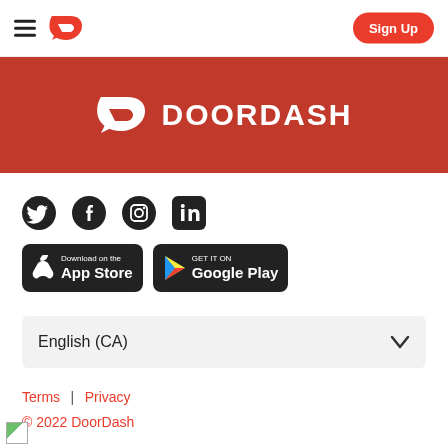DoorDash navigation bar with hamburger menu, DoorDash logo, and Sign Up button
[Figure (logo): DoorDash red banner with white DoorDash logo and wordmark DOORDASH]
[Figure (infographic): Social media icons: Twitter, Facebook, Instagram, LinkedIn]
[Figure (infographic): App store badges: Download on the App Store and Get it on Google Play]
English (CA)
Terms | Privacy
© 2022 DoorDash